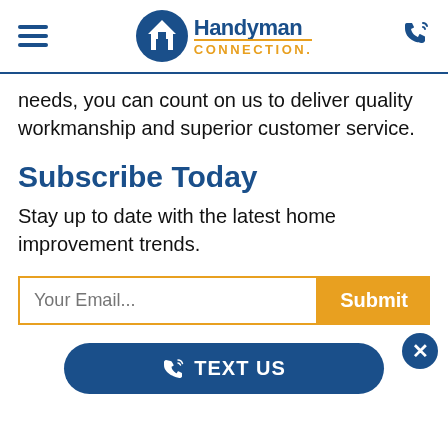Handyman Connection
needs, you can count on us to deliver quality workmanship and superior customer service.
Subscribe Today
Stay up to date with the latest home improvement trends.
[Figure (other): Email subscription form with 'Your Email...' input field and orange Submit button]
[Figure (other): Blue rounded 'TEXT US' button with phone icon]